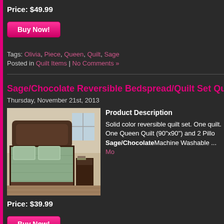Price: $49.99
Buy Now!
Tags: Olivia, Piece, Queen, Quilt, Sage
Posted in Quilt Items | No Comments »
Sage/Chocolate Reversible Bedspread/Quilt Set Queen
Thursday, November 21st, 2013
[Figure (photo): Sage/chocolate reversible quilt set on a bed with two pillows]
Product Description
Solid color reversible quilt set. One quilt. One Queen Quilt (90"x90") and 2 Pillowcases. Sage/Chocolate Machine Washable ... More
Price: $39.99
Buy Now!